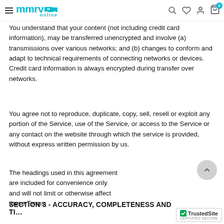mmrv online [navigation header with logo and icons]
You understand that your content (not including credit card information), may be transferred unencrypted and involve (a) transmissions over various networks; and (b) changes to conform and adapt to technical requirements of connecting networks or devices. Credit card information is always encrypted during transfer over networks.
You agree not to reproduce, duplicate, copy, sell, resell or exploit any portion of the Service, use of the Service, or access to the Service or any contact on the website through which the service is provided, without express written permission by us.
The headings used in this agreement are included for convenience only and will not limit or otherwise affect these Terms.
SECTION 3 - ACCURACY, COMPLETENESS AND TI...